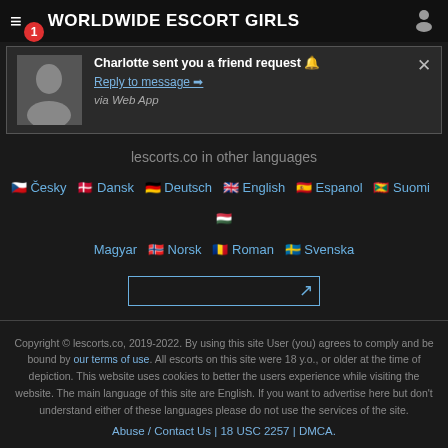WORLDWIDE ESCORT GIRLS
[Figure (screenshot): Push notification popup: Charlotte sent you a friend request. Reply to message arrow. via Web App.]
lescorts.co in other languages
Cesky Dansk Deutsch English Espanol Suomi Magyar Norsk Roman Svenska
Copyright © lescorts.co, 2019-2022. By using this site User (you) agrees to comply and be bound by our terms of use. All escorts on this site were 18 y.o., or older at the time of depiction. This website uses cookies to better the users experience while visiting the website. The main language of this site are English. If you want to advertise here but don't understand either of these languages please do not use the services of the site.
Abuse / Contact Us | 18 USC 2257 | DMCA.
All the escorts listed on lescorts.co charge for their time and companionship